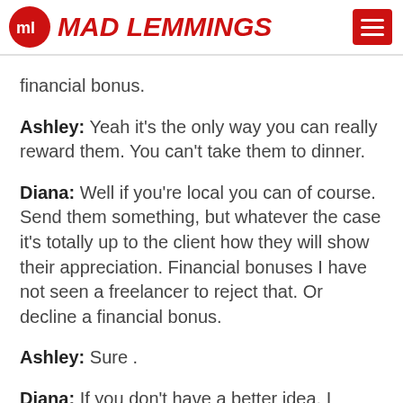Mad Lemmings
financial bonus.
Ashley: Yeah it's the only way you can really reward them. You can't take them to dinner.
Diana: Well if you're local you can of course. Send them something, but whatever the case it's totally up to the client how they will show their appreciation. Financial bonuses I have not seen a freelancer to reject that. Or decline a financial bonus.
Ashley: Sure .
Diana: If you don't have a better idea, I